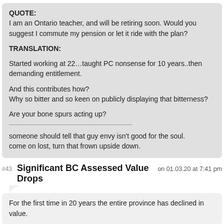QUOTE:
I am an Ontario teacher, and will be retiring soon. Would you suggest I commute my pension or let it ride with the plan?

TRANSLATION:

Started working at 22…taught PC nonsense for 10 years..then demanding entitlement.

And this contributes how?
Why so bitter and so keen on publicly displaying that bitterness?

Are your bone spurs acting up?

———

someone should tell that guy envy isn't good for the soul.
come on lost, turn that frown upside down.
#43  Significant BC Assessed Value Drops  on 01.03.20 at 7:41 pm
For the first time in 20 years the entire province has declined in value.